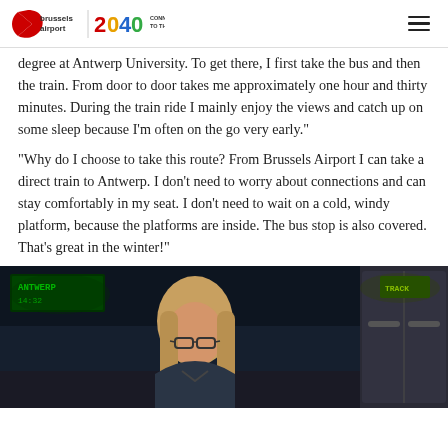Brussels Airport | 2040 CONNECTING BELGIUM TO THE FUTURE
degree at Antwerp University. To get there, I first take the bus and then the train. From door to door takes me approximately one hour and thirty minutes. During the train ride I mainly enjoy the views and catch up on some sleep because I'm often on the go very early."
“Why do I choose to take this route? From Brussels Airport I can take a direct train to Antwerp. I don't need to worry about connections and can stay comfortably in my seat. I don't need to wait on a cold, windy platform, because the platforms are inside. The bus stop is also covered. That's great in the winter!"
[Figure (photo): A woman with long hair and glasses standing at a train platform or transit area, with illuminated signage and a train visible in the background.]